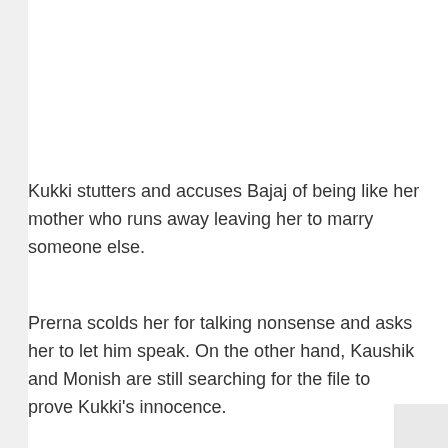Kukki stutters and accuses Bajaj of being like her mother who runs away leaving her to marry someone else.
Prerna scolds her for talking nonsense and asks her to let him speak. On the other hand, Kaushik and Monish are still searching for the file to prove Kukki's innocence.